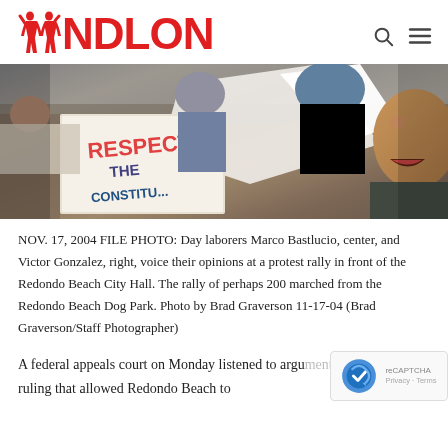NDLON
[Figure (photo): Protesters at a rally holding signs including one reading 'RESPECT THE CONSTITUTION'. Day laborers Marco Bastlucio and Victor Gonzalez are visible, with a close-up of a man speaking at a protest rally in front of Redondo Beach City Hall.]
NOV. 17, 2004 FILE PHOTO: Day laborers Marco Bastlucio, center, and Victor Gonzalez, right, voice their opinions at a protest rally in front of the Redondo Beach City Hall. The rally of perhaps 200 marched from the Redondo Beach Dog Park. Photo by Brad Graverson 11-17-04 (Brad Graverson/Staff Photographer)
A federal appeals court on Monday listened to arguments to reconsider a ruling that allowed Redondo Beach to